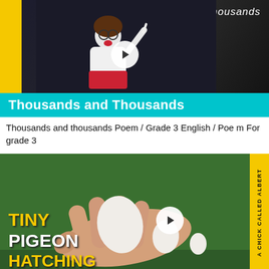[Figure (screenshot): Video thumbnail showing a girl teacher in front of a blackboard with the word 'thousands' written. A cyan banner reads 'Thousands and Thousands'. A yellow bar is on the left side. Play button overlay.]
Thousands and thousands Poem / Grade 3 English / Poem For grade 3
[Figure (screenshot): Video thumbnail of a hand holding small white eggs on grass background, with text: TINY PIGEON HATCHING. Yellow vertical sidebar on right reads 'A CHICK CALLED ALBERT'. Play button overlay.]